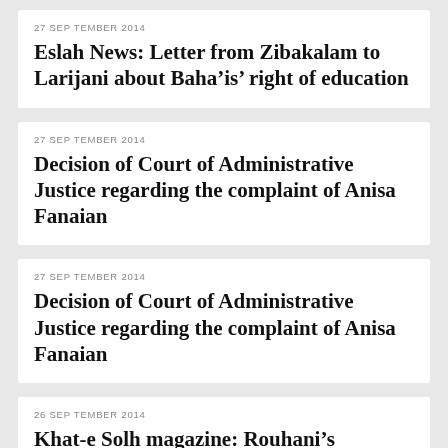27 SEPTEMBER 2014
Eslah News: Letter from Zibakalam to Larijani about Baha’is’ right of education
27 SEPTEMBER 2014
Decision of Court of Administrative Justice regarding the complaint of Anisa Fanaian
27 SEPTEMBER 2014
Decision of Court of Administrative Justice regarding the complaint of Anisa Fanaian
26 SEPTEMBER 2014
Khat-e Solh magazine: Rouhani’s government and the right to education